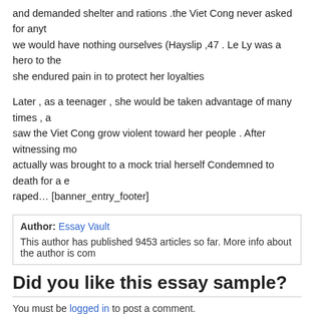and demanded shelter and rations .the Viet Cong never asked for anything we would have nothing ourselves (Hayslip ,47 . Le Ly was a hero to the she endured pain in to protect her loyalties
Later , as a teenager , she would be taken advantage of many times , a saw the Viet Cong grow violent toward her people . After witnessing mo actually was brought to a mock trial herself Condemned to death for a e raped… [banner_entry_footer]
Author: Essay Vault
This author has published 9453 articles so far. More info about the author is com
Did you like this essay sample?
You must be logged in to post a comment.
More Papers On ‘american history’ Topic
The Irish South: 1815-1877. by David T Gleeson